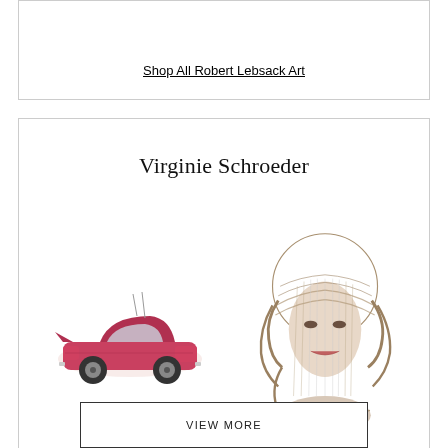Shop All Robert Lebsack Art
Virginie Schroeder
[Figure (illustration): Two artworks by Virginie Schroeder: a red vintage classic car rendered in a detailed illustrative style, and a portrait of Marilyn Monroe rendered with layered wavy lines giving a 3D effect.]
Shop All Virginie Schroeder Art
VIEW MORE